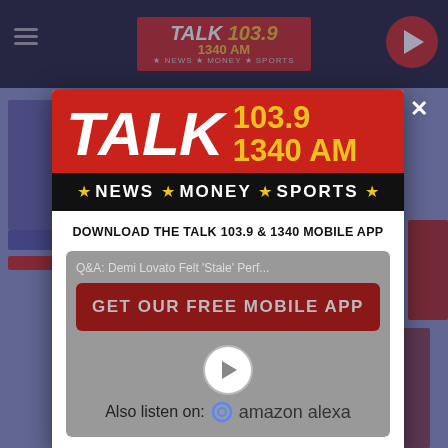[Figure (screenshot): Website screenshot showing Talk 103.9 / 1340 AM radio station website with a modal popup dialog. The modal contains the station logo in red with gold frequency numbers, a black tagline bar with NEWS MONEY SPORTS, and a white section with download app prompt and Amazon Alexa listen option.]
DOWNLOAD THE TALK 103.9 & 1340 MOBILE APP
Q&A: Demi Lovato Felt 'Stale' Perf...
GET OUR FREE MOBILE APP
Also listen on:  amazon alexa